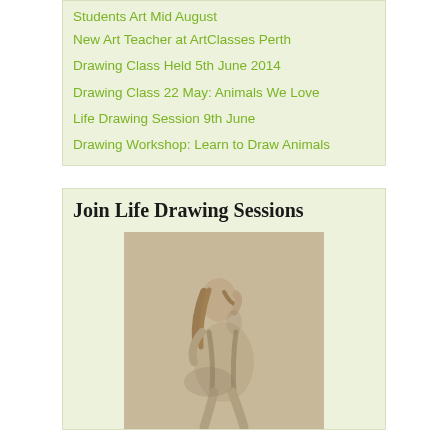Students Art Mid August
New Art Teacher at ArtClasses Perth
Drawing Class Held 5th June 2014
Drawing Class 22 May: Animals We Love
Life Drawing Session 9th June
Drawing Workshop: Learn to Draw Animals
Join Life Drawing Sessions
[Figure (photo): Pencil sketch or photo of a seated female life drawing model figure, shown from the side/front, with hand raised near head]